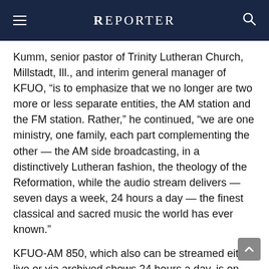REPORTER
Kumm, senior pastor of Trinity Lutheran Church, Millstadt, Ill., and interim general manager of KFUO, “is to emphasize that we no longer are two more or less separate entities, the AM station and the FM station. Rather,” he continued, “we are one ministry, one family, each part complementing the other — the AM side broadcasting, in a distinctively Lutheran fashion, the theology of the Reformation, while the audio stream delivers — seven days a week, 24 hours a day — the finest classical and sacred music the world has ever known.”
KFUO-AM 850, which also can be streamed either live or via archived shows 24 hours a day, is on the air in the St. Louis area from dawn to dusk.  It and the classical-sacred stream can be accessed on the Web at